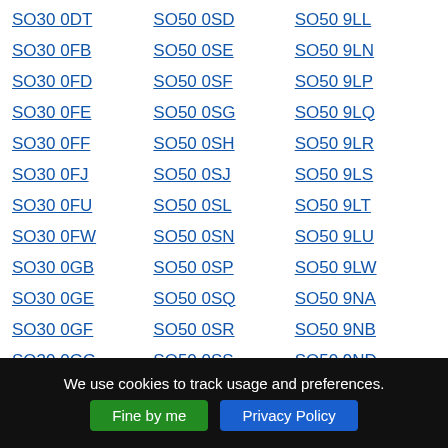SO30 0DT
SO50 0SD
SO50 9LL
SO30 0FB
SO50 0SE
SO50 9LN
SO30 0FD
SO50 0SF
SO50 9LP
SO30 0FE
SO50 0SG
SO50 9LQ
SO30 0FF
SO50 0SH
SO50 9LR
SO30 0FJ
SO50 0SJ
SO50 9LS
SO30 0FU
SO50 0SL
SO50 9LT
SO30 0FW
SO50 0SN
SO50 9LU
SO30 0GB
SO50 0SP
SO50 9LW
SO30 0GE
SO50 0SQ
SO50 9NA
SO30 0GF
SO50 0SR
SO50 9NB
SO30 0GG
SO50 0SS
SO50 9ND
We use cookies to track usage and preferences.
Fine by me
Privacy Policy